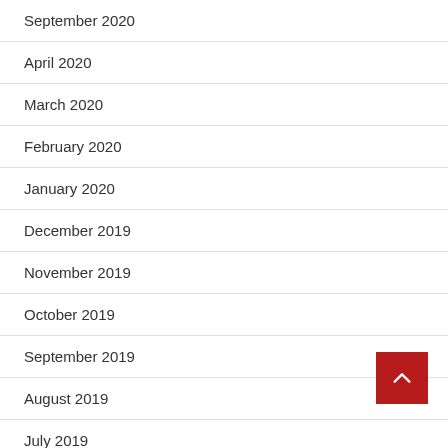September 2020
April 2020
March 2020
February 2020
January 2020
December 2019
November 2019
October 2019
September 2019
August 2019
July 2019
June 2019
May 2019